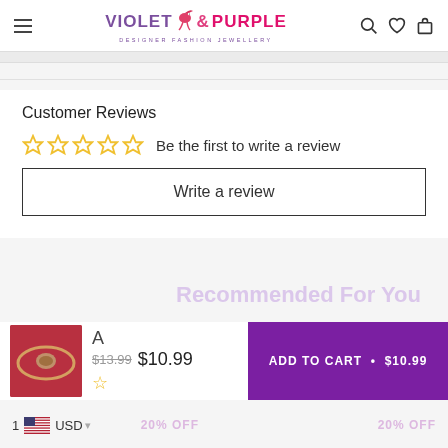[Figure (logo): Violet and Purple designer fashion jewellery logo with pink bird icon]
Customer Reviews
Be the first to write a review
Write a review
[Figure (photo): Product thumbnail - gold bracelet on red/pink background]
$13.99 $10.99
ADD TO CART • $10.99
Recommended For You
1 USD
20% OFF
20% OFF